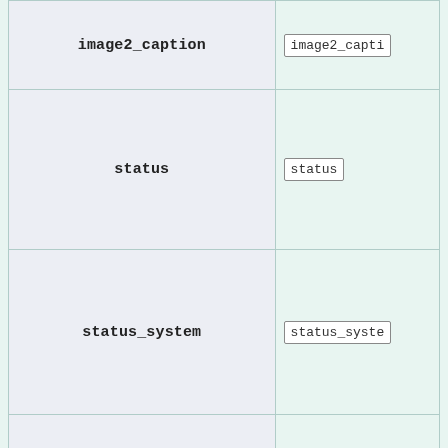| Field name | Value |
| --- | --- |
| image2_caption | image2_capti |
| status | status |
| status_system | status_syste |
| status_ref | status_ref |